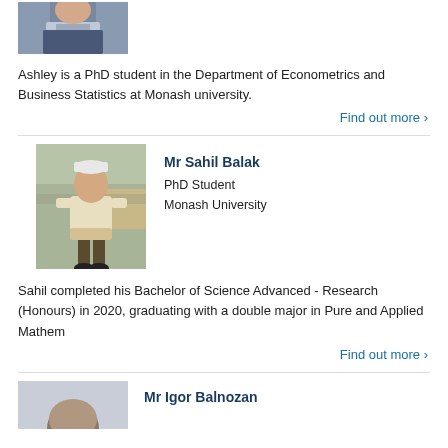[Figure (photo): Partial photo of a man in a suit at the top of the page]
Ashley is a PhD student in the Department of Econometrics and Business Statistics at Monash university.
Find out more ›
[Figure (photo): Photo of Mr Sahil Balak sitting outdoors]
Mr Sahil Balak
PhD Student
Monash University
Sahil completed his Bachelor of Science Advanced - Research (Honours) in 2020, graduating with a double major in Pure and Applied Mathem
Find out more ›
[Figure (photo): Partial photo of Mr Igor Balnozan at the bottom of the page]
Mr Igor Balnozan